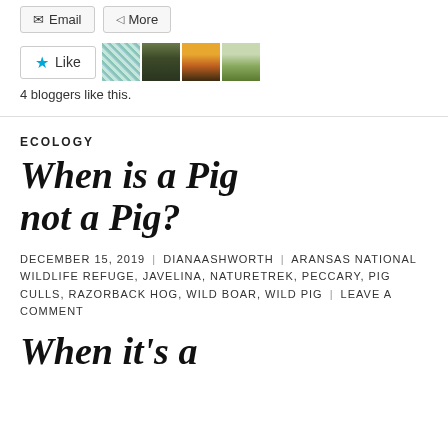[Figure (screenshot): Share buttons: Email and More, styled as rounded pill buttons with icons]
[Figure (screenshot): Like button with star icon and four blogger avatar thumbnails beside it]
4 bloggers like this.
ECOLOGY
When is a Pig not a Pig?
DECEMBER 15, 2019 | DIANAASHWORTH | ARANSAS NATIONAL WILDLIFE REFUGE, JAVELINA, NATURETREK, PECCARY, PIG CULLS, RAZORBACK HOG, WILD BOAR, WILD PIG | LEAVE A COMMENT
When it's a